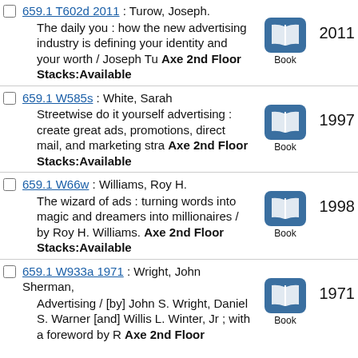659.1 T602d 2011 : Turow, Joseph. The daily you : how the new advertising industry is defining your identity and your worth / Joseph Tu Axe 2nd Floor Stacks:Available 2011
659.1 W585s : White, Sarah. Streetwise do it yourself advertising : create great ads, promotions, direct mail, and marketing stra Axe 2nd Floor Stacks:Available 1997
659.1 W66w : Williams, Roy H. The wizard of ads : turning words into magic and dreamers into millionaires / by Roy H. Williams. Axe 2nd Floor Stacks:Available 1998
659.1 W933a 1971 : Wright, John Sherman, Advertising / [by] John S. Wright, Daniel S. Warner [and] Willis L. Winter, Jr ; with a foreword by R Axe 2nd Floor Stacks:Available 1971